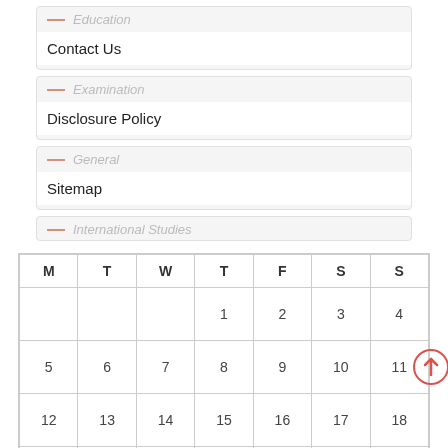Education — Contact Us
Examination — Disclosure Policy
General — Sitemap
International Studies
| M | T | W | T | F | S | S |
| --- | --- | --- | --- | --- | --- | --- |
|  |  |  | 1 | 2 | 3 | 4 |
| 5 | 6 | 7 | 8 | 9 | 10 | 11 |
| 12 | 13 | 14 | 15 | 16 | 17 | 18 |
| 19 | 20 | 21 | 22 | 23 | 24 | 25 |